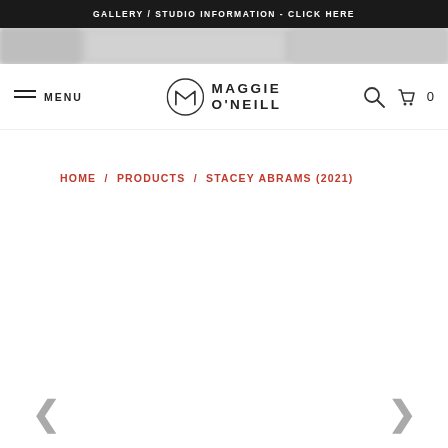GALLERY / STUDIO INFORMATION - CLICK HERE
[Figure (photo): Blurred horizontal image strip showing portions of artwork or gallery images]
MAGGIE O'NEILL
MENU
HOME / PRODUCTS / STACEY ABRAMS (2021)